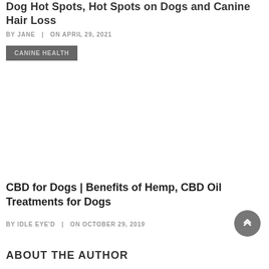Dog Hot Spots, Hot Spots on Dogs and Canine Hair Loss
BY JANE | ON APRIL 29, 2021
CANINE HEALTH
CBD for Dogs | Benefits of Hemp, CBD Oil Treatments for Dogs
BY IDLE EYE'D | ON OCTOBER 29, 2019
ABOUT THE AUTHOR